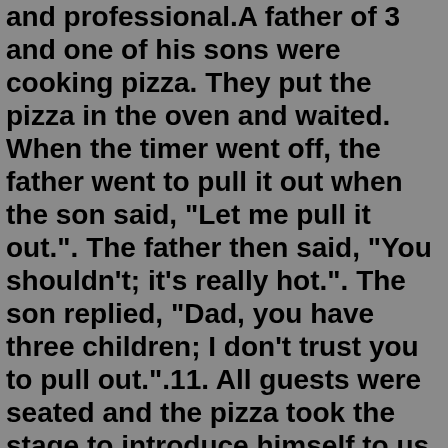and professional.A father of 3 and one of his sons were cooking pizza. They put the pizza in the oven and waited. When the timer went off, the father went to pull it out when the son said, "Let me pull it out.". The father then said, "You shouldn't; it's really hot.". The son replied, "Dad, you have three children; I don't trust you to pull out.".11. All guests were seated and the pizza took the stage to introduce himself to us. He said, slice to meet you all today. 12. The anteater is such a waste. The only thing he likes on pizza is the ant-chovies. 13. When out on a date, the pizza told the topping, I never sausage a beautiful face. 14.Jan 18, 2014 · Roll the pizza dough to desired shape and place it on a large, lightly oiled baking sheet or a pizza stone. Combine the mozzarella, Locatelli, and Monterey Jack in a large bowl. Evenly distribute the cheese mixture over the crust. Top with pepperoni and gorgonzola, evenly distributing them around the top of the pie. When the moon hits your eye like a big pizza pie that's amore. When you suddenly squeal 'cause you stepped on an eel that's a